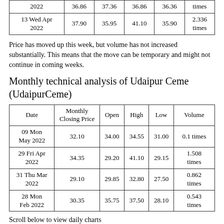| Date | Monthly Closing Price | Open | High | Low | Volume |
| --- | --- | --- | --- | --- | --- |
| 2022 | 36.86 | 37.36 | 36.86 | 36.36 | times |
| 13 Wed Apr 2022 | 37.90 | 35.95 | 41.10 | 35.90 | 2.336 times |
Price has moved up this week, but volume has not increased substantially. This means that the move can be temporary and might not continue in coming weeks.
Monthly technical analysis of Udaipur Ceme (UdaipurCeme)
| Date | Monthly Closing Price | Open | High | Low | Volume |
| --- | --- | --- | --- | --- | --- |
| 09 Mon May 2022 | 32.10 | 34.00 | 34.55 | 31.00 | 0.1 times |
| 29 Fri Apr 2022 | 34.35 | 29.20 | 41.10 | 29.15 | 1.508 times |
| 31 Thu Mar 2022 | 29.10 | 29.85 | 32.80 | 27.50 | 0.862 times |
| 28 Mon Feb 2022 | 30.35 | 35.75 | 37.50 | 28.10 | 0.543 times |
Scroll below to view daily charts
Price has moved below this month, but volume has not...